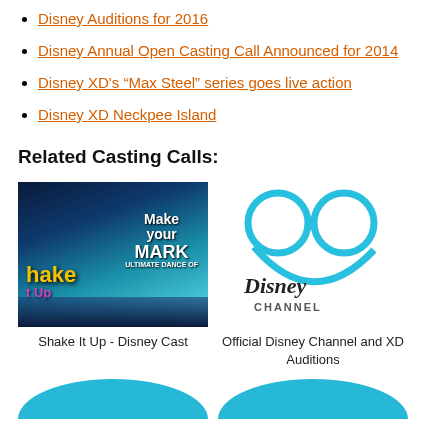Disney Auditions for 2016
Disney Annual Open Casting Call Announced for 2014
Disney XD's “Max Steel” series goes live action
Disney XD Neckpee Island
Related Casting Calls:
[Figure (photo): Shake It Up Disney Make Your Mark Ultimate Dance Off promotional image with blue stage lighting]
Shake It Up - Disney Cast
[Figure (logo): Official Disney Channel logo with Mickey Mouse ears outline in blue]
Official Disney Channel and XD Auditions
[Figure (photo): Partial blue curved image at bottom left]
[Figure (photo): Partial blue curved image at bottom right]